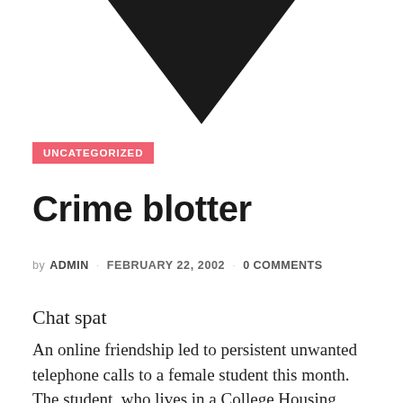[Figure (illustration): Black downward-pointing triangle or chevron shape at the top of the page, partially cropped]
UNCATEGORIZED
Crime blotter
by ADMIN · FEBRUARY 22, 2002 · 0 COMMENTS
Chat spat
An online friendship led to persistent unwanted telephone calls to a female student this month.
The student, who lives in a College Housing Northwest facility, complained on Feb. 11 she